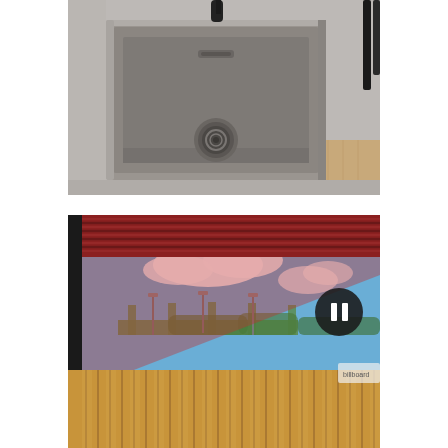[Figure (photo): Close-up photograph of a stainless steel undermount kitchen sink set into a grey concrete-look countertop, with a black matte faucet visible at the top, and wooden cabinet panel below. The sink has a visible drain strainer basket at the bottom center.]
[Figure (photo): Outdoor architectural photograph showing a covered terrace or pavilion area with red/brown corrugated metal roof panels overhead, a wooden slatted fence/wall in the foreground, blue sky with clouds in the background, green bridge structure and street lamps visible in the distance. A dark circular pause/play button UI element is overlaid in the upper right area of the image.]